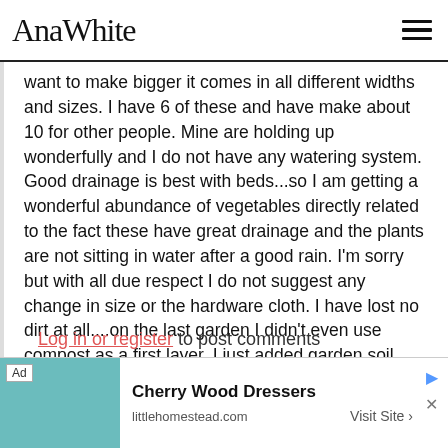AnaWhite
want to make bigger it comes in all different widths and sizes. I have 6 of these and have make about 10 for other people. Mine are holding up wonderfully and I do not have any watering system. Good drainage is best with beds...so I am getting a wonderful abundance of vegetables directly related to the fact these have great drainage and the plants are not sitting in water after a good rain. I'm sorry but with all due respect I do not suggest any change in size or the hardware cloth. I have lost no dirt at all....on the last garden I didn't even use compost as a first layer, I just added garden soil and lost very little when installed. The soil compacts it's self. These are wonderful gardens for elderly people.
Log in or register to post comments
[Figure (screenshot): Advertisement banner for Cherry Wood Dressers from littlehomestead.com with Visit Site button]